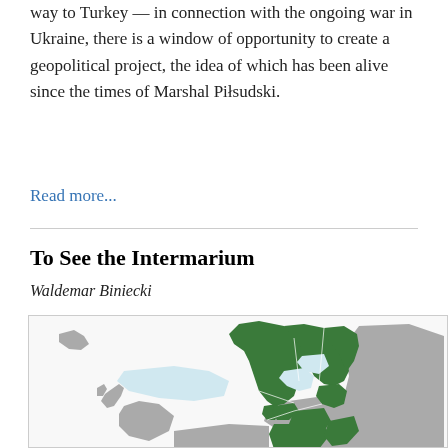way to Turkey — in connection with the ongoing war in Ukraine, there is a window of opportunity to create a geopolitical project, the idea of which has been alive since the times of Marshal Piłsudski.
Read more...
To See the Intermarium
Waldemar Biniecki
[Figure (map): Map of Europe showing Scandinavian countries, Baltic states, and parts of Eastern Europe highlighted in green, representing the Intermarium region. The rest of Europe is shown in grey. Iceland is visible at upper left in grey.]